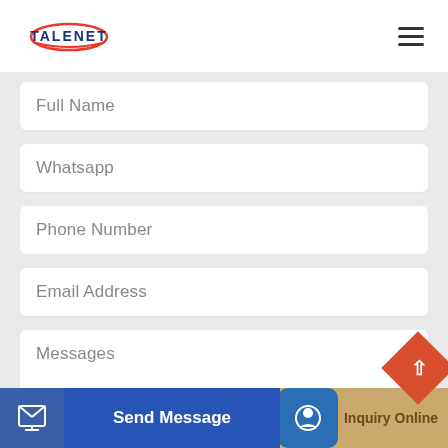TALENET (logo) | hamburger menu
Full Name
Whatsapp
Phone Number
Email Address
Messages
Send Message
Inquiry Online